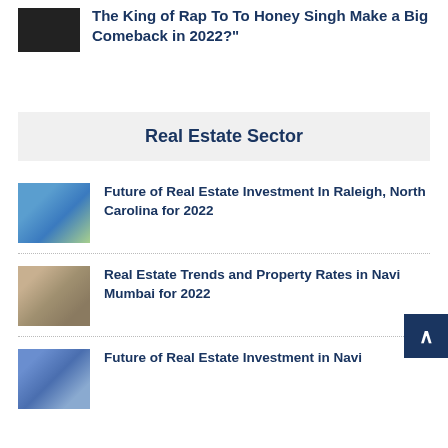The King of Rap To To Honey Singh Make a Big Comeback in 2022?
Real Estate Sector
Future of Real Estate Investment In Raleigh, North Carolina for 2022
Real Estate Trends and Property Rates in Navi Mumbai for 2022
Future of Real Estate Investment in Navi